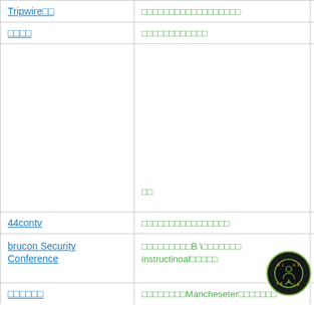| Tripwire□□ | □□□□□□□□□□□□□□□□□□ |
| □□□□ | □□□□□□□□□□□□ |
|  | □□ | □□□□□□□□ |
| 44contv | □□□□□□□□□□□□□□□□ |
| brucon Security Conference | □□□□□□□□□B \□□□□□□□ instructinoal□□□□□ |
| □□□□□□ | □□□□□□□□Mancheseter□□□□□□□ |